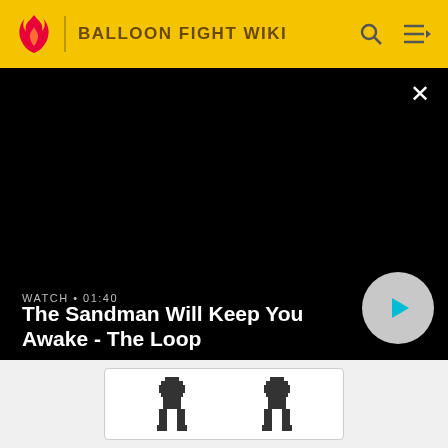BALLOON FIGHT WIKI
[Figure (screenshot): Video preview panel with black background showing title 'The Sandman Will Keep You Awake - The Loop', timestamp 01:40, and a play button]
[Figure (other): Two pixel-art character sprites in a bordered cell]
GAME:
[Figure (other): Small Game & Watch logo/icon]
LEVEL NUMBER: 8